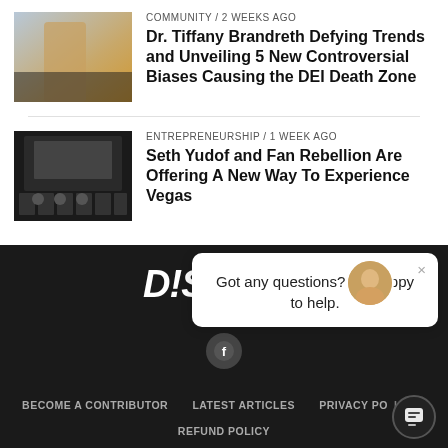COMMUNITY / 2 weeks ago
Dr. Tiffany Brandreth Defying Trends and Unveiling 5 New Controversial Biases Causing the DEI Death Zone
ENTREPRENEURSHIP / 1 week ago
Seth Yudof and Fan Rebellion Are Offering A New Way To Experience Vegas
[Figure (logo): DISRUPT logo in white bold italic text on dark background]
[Figure (screenshot): Chat bubble popup: avatar image, close X, text 'Got any questions? I'm happy to help.']
BECOME A CONTRIBUTOR   LATEST ARTICLES   PRIVACY POLICY   REFUND POLICY